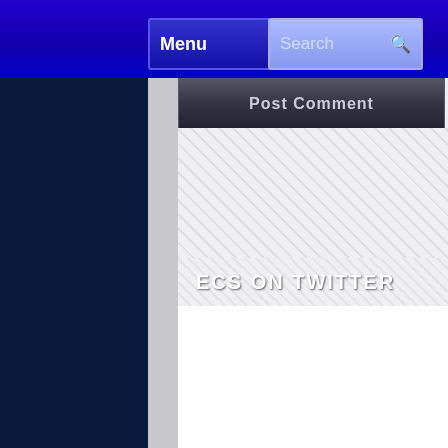Menu | Search
Post Comment
ECS ON TWITTER